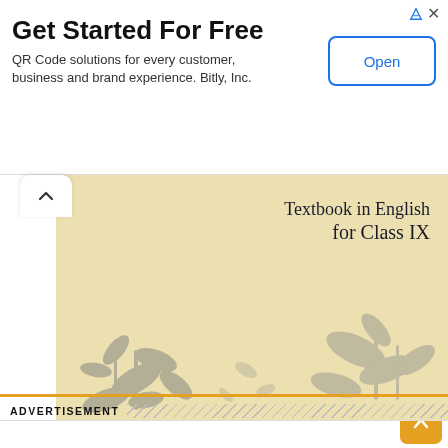Get Started For Free
QR Code solutions for every customer, business and brand experience. Bitly, Inc.
[Figure (screenshot): Partial view of a textbook cover for 'Textbook in English for Class IX' showing a yellowed page with decorative botanical illustrations]
The Duck and the Kangaroo: 9th English Beehive Ch 07
February 18, 2021
ADVERTISEMENT